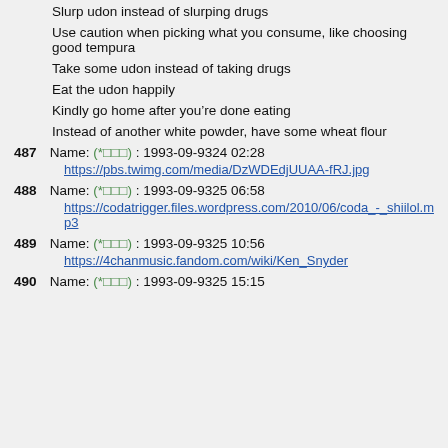Slurp udon instead of slurping drugs
Use caution when picking what you consume, like choosing good tempura
Take some udon instead of taking drugs
Eat the udon happily
Kindly go home after you’re done eating
Instead of another white powder, have some wheat flour
487  Name: (*□□□) : 1993-09-9324 02:28
https://pbs.twimg.com/media/DzWDEdjUUAA-fRJ.jpg
488  Name: (*□□□) : 1993-09-9325 06:58
https://codatrigger.files.wordpress.com/2010/06/coda_-_shiilol.mp3
489  Name: (*□□□) : 1993-09-9325 10:56
https://4chanmusic.fandom.com/wiki/Ken_Snyder
490  Name: (*□□□) : 1993-09-9325 15:15